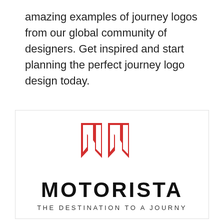amazing examples of journey logos from our global community of designers. Get inspired and start planning the perfect journey logo design today.
[Figure (logo): Motorista logo: two red shield/letter M shapes above the bold black text 'MOTORISTA' and tagline 'THE DESTINATION TO A JOURNY']